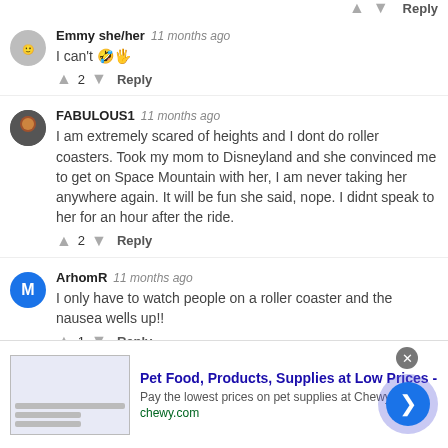↑  ↓  Reply (partial top row)
Emmy she/her  11 months ago
I can't 🤣🖐️
↑ 2 ↓ Reply
FABULOUS1  11 months ago
I am extremely scared of heights and I dont do roller coasters. Took my mom to Disneyland and she convinced me to get on Space Mountain with her, I am never taking her anywhere again. It will be fun she said, nope. I didnt speak to her for an hour after the ride.
↑ 2 ↓ Reply
ArhomR  11 months ago
I only have to watch people on a roller coaster and the nausea wells up!!
↑ 1 ↓ Reply
[Figure (screenshot): Advertisement banner for Chewy.com: Pet Food, Products, Supplies at Low Prices - Pay the lowest prices on pet supplies at Chewy.com]